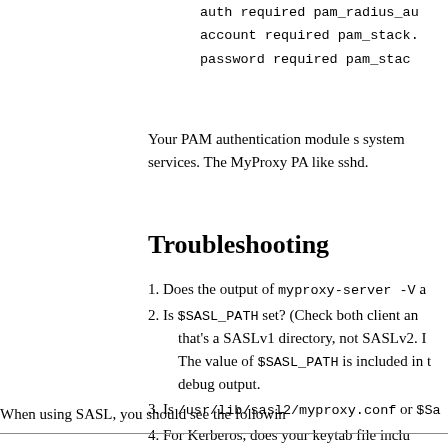auth required pam_radius_au
account required pam_stack.
password required pam_stac
Your PAM authentication module s system services. The MyProxy PAM like sshd.
Troubleshooting
1. Does the output of myproxy-server -V a
2. Is $SASL_PATH set? (Check both client an that's a SASLv1 directory, not SASLv2. I The value of $SASL_PATH is included in th debug output.
3. Is /usr/lib/sasl2/myproxy.conf or $Sa
4. For Kerberos, does your keytab file inclu
5. Is the necessary SASL mechanism library, libgssapiv2.so is required.
6. Does /etc/myproxy-server.config or $ sasl "sufficient" or sasl "required
When using SASL, you should see the followin